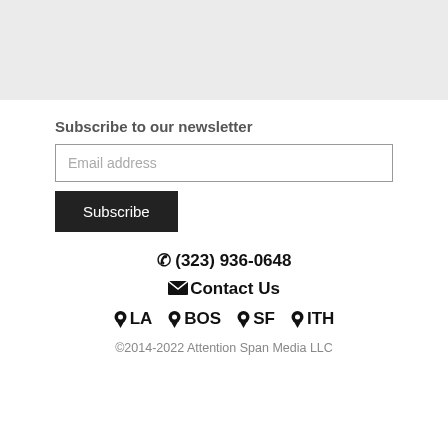Subscribe to our newsletter
Email address
Subscribe
☎ (323) 936-0648
✉ Contact Us
📍 LA   📍 BOS   📍 SF   📍 ITH
©2014-2022 Attention Span Media LLC